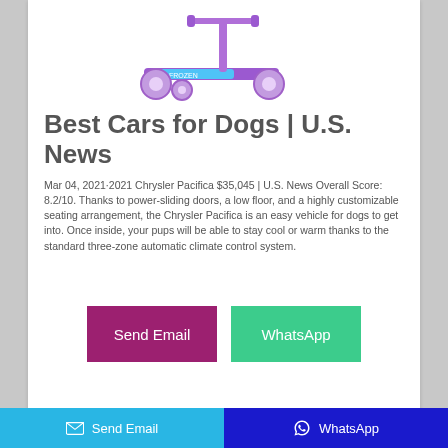[Figure (photo): Purple children's kick scooter with three wheels and Frozen-themed decoration]
Best Cars for Dogs | U.S. News
Mar 04, 2021·2021 Chrysler Pacifica $35,045 | U.S. News Overall Score: 8.2/10. Thanks to power-sliding doors, a low floor, and a highly customizable seating arrangement, the Chrysler Pacifica is an easy vehicle for dogs to get into. Once inside, your pups will be able to stay cool or warm thanks to the standard three-zone automatic climate control system.
Send Email
WhatsApp
Send Email   WhatsApp